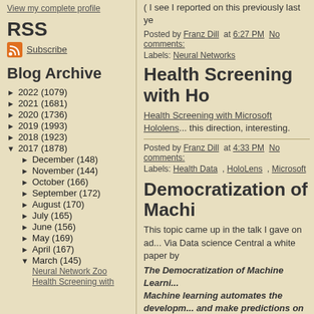View my complete profile
RSS
Subscribe
Blog Archive
► 2022 (1079)
► 2021 (1681)
► 2020 (1736)
► 2019 (1993)
► 2018 (1923)
▼ 2017 (1878)
► December (148)
► November (144)
► October (166)
► September (172)
► August (170)
► July (165)
► June (156)
► May (169)
► April (167)
▼ March (145)
Neural Network Zoo
Health Screening with
( I see I reported on this previously last ye
Posted by Franz Dill  at  6:27 PM   No comments:
Labels: Neural Networks
Health Screening with Ho
Health Screening with Microsoft Hololens ... this direction, interesting.
Posted by Franz Dill  at  4:33 PM   No comments:
Labels: Health Data , HoloLens , Microsoft
Democratization of Machi
This topic came up in the talk I gave on ad... Via Data science Central a white paper by
The Democratization of Machine Learni... Machine learning automates the developm... and make predictions on data. It has been... within the world of statistics and data sci...